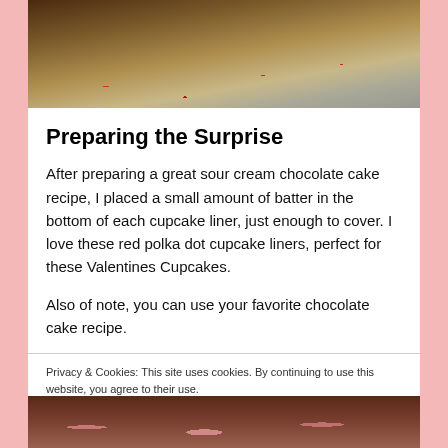[Figure (photo): Close-up photo of a mixing bowl or baking tool with chocolate batter, top portion of image]
Preparing the Surprise
After preparing a great sour cream chocolate cake recipe, I placed a small amount of batter in the bottom of each cupcake liner, just enough to cover. I love these red polka dot cupcake liners, perfect for these Valentines Cupcakes.
Also of note, you can use your favorite chocolate cake recipe.
Privacy & Cookies: This site uses cookies. By continuing to use this website, you agree to their use.
To find out more, including how to control cookies, see here: Cookie Policy
Close and accept
[Figure (photo): Bottom portion showing chocolate cupcakes with pink decorative liners]